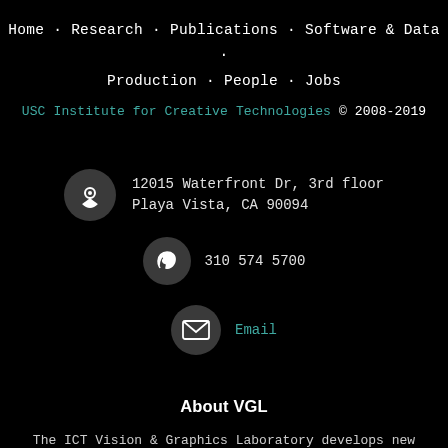Home · Research · Publications · Software & Data · Production · People · Jobs
USC Institute for Creative Technologies © 2008-2019
12015 Waterfront Dr, 3rd floor
Playa Vista, CA 90094
310 574 5700
Email
About VGL
The ICT Vision & Graphics Laboratory develops new techniques for creating and displaying photorealistic computer graphics of people, objects, and environments. We